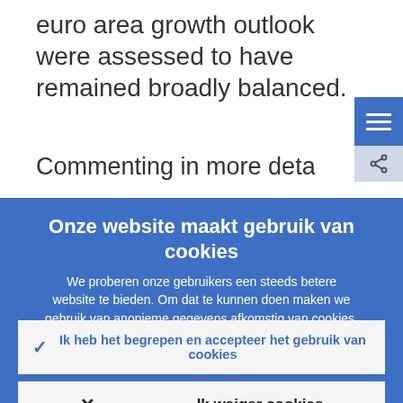euro area growth outlook were assessed to have remained broadly balanced.
Commenting in more detail on the outloo
Onze website maakt gebruik van cookies
We proberen onze gebruikers een steeds betere website te bieden. Om dat te kunnen doen maken we gebruik van anonieme gegevens afkomstig van cookies.
Nadere informatie over ons gebruik van cookies
Ik heb het begrepen en accepteer het gebruik van cookies
Ik weiger cookies